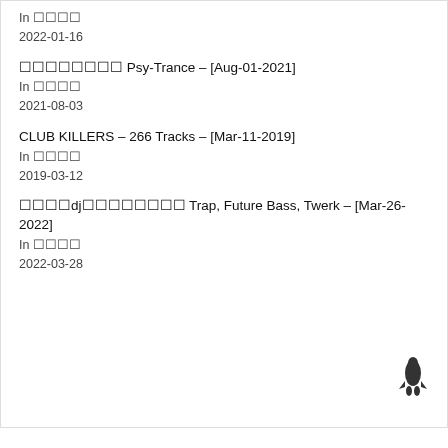In □□□□
2022-01-16
□□□□□□□□ Psy-Trance – [Aug-01-2021]
In □□□□
2021-08-03
CLUB KILLERS – 266 Tracks – [Mar-11-2019]
In □□□□
2019-03-12
□□□□dj□□□□□□□□ Trap, Future Bass, Twerk – [Mar-26-2022]
In □□□□
2022-03-28